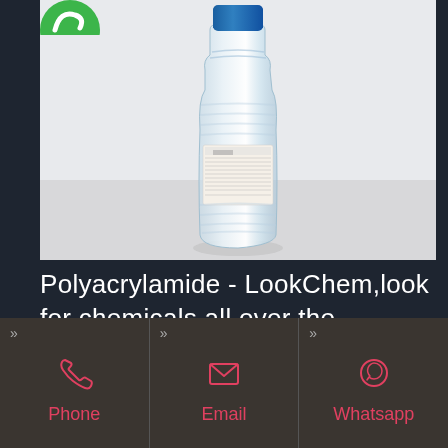[Figure (photo): A plastic water bottle with blue cap on a light gray background, with a label on the bottle. Partial green logo visible at top left corner.]
Polyacrylamide - LookChem,look for chemicals all over the
[Figure (infographic): Contact bar with three sections: Phone (phone icon), Email (envelope icon), Whatsapp (WhatsApp icon). Each section has a double-chevron arrow at top-left.]